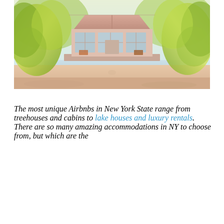[Figure (photo): A beach house or vacation rental with large glass windows and wooden frame structure, surrounded by tropical trees with yellow-green foliage. Sandy beach in foreground, water reflection visible.]
The most unique Airbnbs in New York State range from treehouses and cabins to lake houses and luxury rentals. There are so many amazing accommodations in NY to choose from, but which are the